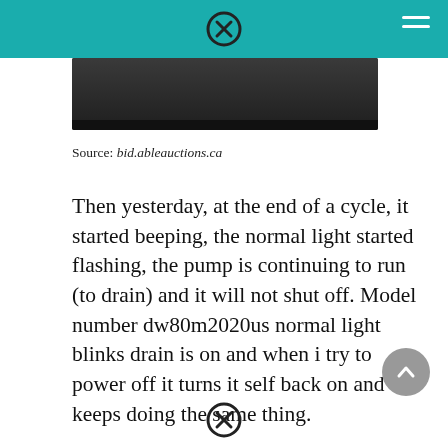[Figure (photo): Partial screenshot of a website page showing a cropped appliance photo and navigation elements on a teal header bar]
Source: bid.ableauctions.ca
Then yesterday, at the end of a cycle, it started beeping, the normal light started flashing, the pump is continuing to run (to drain) and it will not shut off. Model number dw80m2020us normal light blinks drain is on and when i try to power off it turns it self back on and keeps doing the same thing.